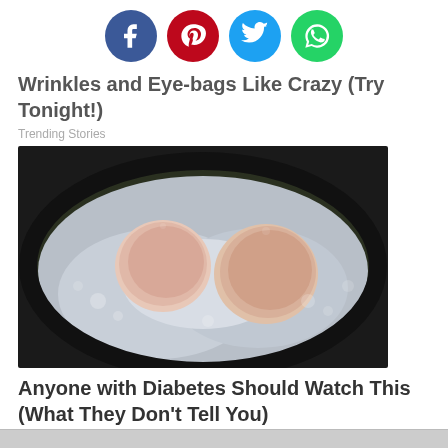[Figure (infographic): Social media sharing icons: Facebook (blue), Pinterest (red), Twitter (light blue), WhatsApp (green), arranged horizontally]
Wrinkles and Eye-bags Like Crazy (Try Tonight!)
Trending Stories
[Figure (photo): Two fried eggs cooking in a pan, viewed from above, whites are bubbly and yolks appear pinkish-orange]
Anyone with Diabetes Should Watch This (What They Don't Tell You)
Health is Life